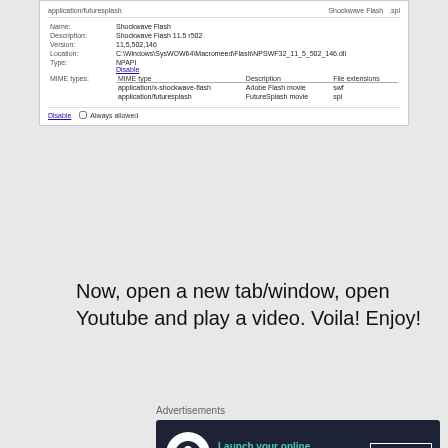[Figure (screenshot): Browser plugin details panel showing Shockwave Flash 11.5 r502 plugin info with MIME types table and Disable/Always allowed controls]
Now, open a new tab/window, open Youtube and play a video. Voila! Enjoy!
Advertisements
[Figure (infographic): Dark banner advertisement: Launch your online course with WordPress — Learn More button]
Hope this helped you to save yourself the time to install another browser. Share your thoughts below.